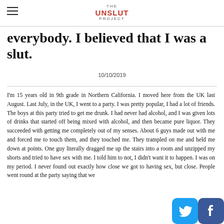THE UNSLUT PROJECT
everybody. I believed that I was a slut.
10/10/2019
I'm 15 years old in 9th grade in Northern California. I moved here from the UK last August. Last July, in the UK, I went to a party. I was pretty popular, I had a lot of friends. The boys at this party tried to get me drunk. I had never had alcohol, and I was given lots of drinks that started off being mixed with alcohol, and then became pure liquor. They succeeded with getting me completely out of my senses. About 6 guys made out with me and forced me to touch them, and they touched me. They trampled on me and held me down at points. One guy literally dragged me up the stairs into a room and unzipped my shorts and tried to have sex with me. I told him to not, I didn't want it to happen. I was on my period. I never found out exactly how close we got to having sex, but close. People went round at the party saying that we